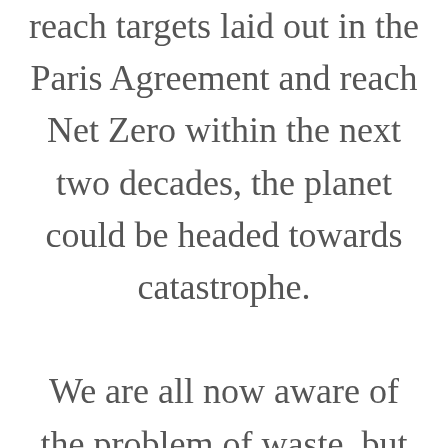reach targets laid out in the Paris Agreement and reach Net Zero within the next two decades, the planet could be headed towards catastrophe.

We are all now aware of the problem of waste, but how can we reduce the negative impact of our everyday products on the environment? And